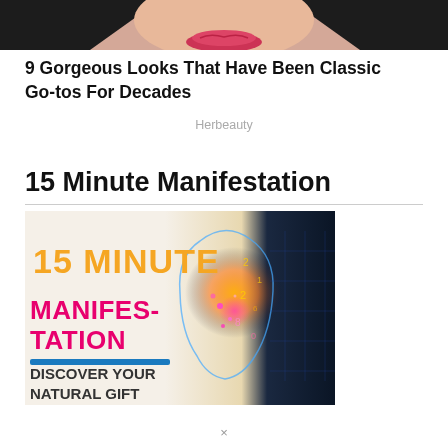[Figure (photo): Close-up photo of a woman's face showing dark hair and pink/red lips near the top of the page]
9 Gorgeous Looks That Have Been Classic Go-tos For Decades
Herbeauty
15 Minute Manifestation
[Figure (photo): Promotional banner image for '15 Minute Manifestation' showing orange and pink text with a glowing head silhouette. Text reads: 15 MINUTE MANIFESTATION, DISCOVER YOUR NATURAL GIFT]